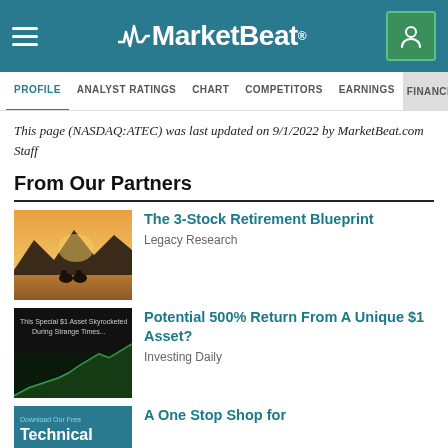MarketBeat
PROFILE | ANALYST RATINGS | CHART | COMPETITORS | EARNINGS | FINANCIAL
This page (NASDAQ:ATEC) was last updated on 9/1/2022 by MarketBeat.com Staff
From Our Partners
[Figure (photo): Couple sitting by a lake with mountains and sunset in the background]
The 3-Stock Retirement Blueprint
Legacy Research
[Figure (screenshot): Financial chart showing green upward line with text 'This Special $1 Asset Skyrocketed During Strange Times...']
Potential 500% Return From A Unique $1 Asset?
Investing Daily
[Figure (screenshot): Dark teal background with text 'Download Our Free Technical']
A One Stop Shop for...